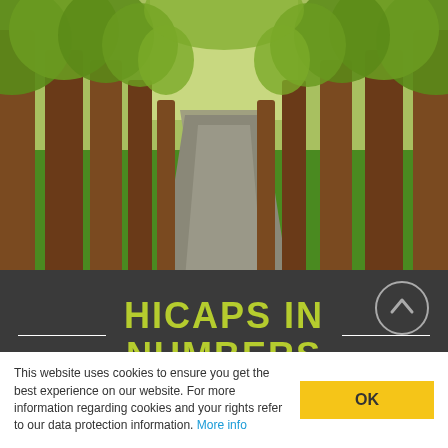[Figure (photo): A tree-lined pathway in a park with large trees forming a canopy, green grass on either side, and a paved walkway receding into the distance.]
HICAPS IN NUMBERS
This website uses cookies to ensure you get the best experience on our website. For more information regarding cookies and your rights refer to our data protection information. More info